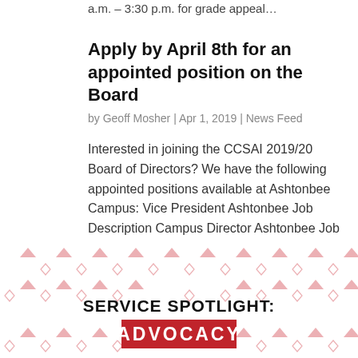a.m. – 3:30 p.m. for grade appeal…
Apply by April 8th for an appointed position on the Board
by Geoff Mosher | Apr 1, 2019 | News Feed
Interested in joining the CCSAI 2019/20 Board of Directors? We have the following appointed positions available at Ashtonbee Campus: Vice President Ashtonbee Job Description Campus Director Ashtonbee Job Description If you are interested in applying please fill out…
[Figure (infographic): Service Spotlight: Advocacy banner with decorative background pattern of red arrows and diamond shapes. Bold black text reads SERVICE SPOTLIGHT: with ADVOCACY in white text on a red background rectangle.]